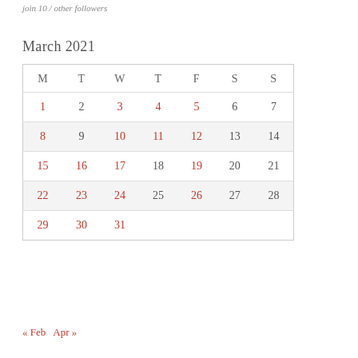join 10 / other followers
March 2021
| M | T | W | T | F | S | S |
| --- | --- | --- | --- | --- | --- | --- |
| 1 | 2 | 3 | 4 | 5 | 6 | 7 |
| 8 | 9 | 10 | 11 | 12 | 13 | 14 |
| 15 | 16 | 17 | 18 | 19 | 20 | 21 |
| 22 | 23 | 24 | 25 | 26 | 27 | 28 |
| 29 | 30 | 31 |  |  |  |  |
« Feb   Apr »